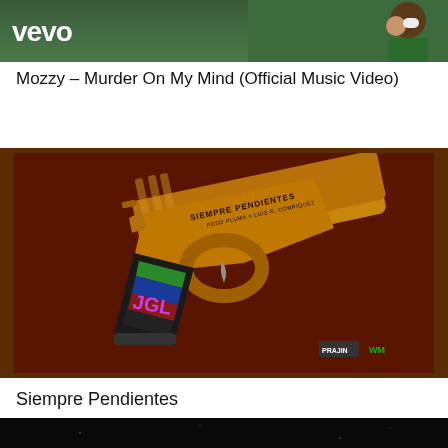[Figure (screenshot): Vevo music video thumbnail with green/teal background and person holding cup, with Vevo logo overlay]
Mozzy – Murder On My Mind (Official Music Video)
[Figure (illustration): Gold pistol with 'Siempre Pendientes' engraved on barrel, colorful grip panel with text 'JGL', on dark maroon paisley background. PRAJIN and WM logos in lower right.]
Siempre Pendientes
[Figure (screenshot): Dark/black thumbnail, partially visible at bottom of page]